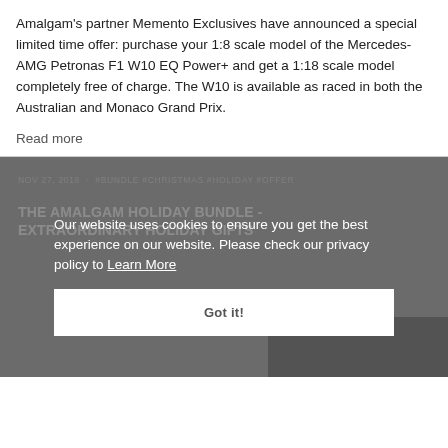Amalgam's partner Memento Exclusives have announced a special limited time offer: purchase your 1:8 scale model of the Mercedes-AMG Petronas F1 W10 EQ Power+ and get a 1:18 scale model completely free of charge. The W10 is available as raced in both the Australian and Monaco Grand Prix.
Read more
NOV 27, 2018 · #BUNDLE #CHRISTMAS #HOLIDAY #OFFER
THE AMALGAM HOLIDAY BUNDLE - EXTRAORDINARY HOLIDAY GIFTS
Our website uses cookies to ensure you get the best experience on our website. Please check our privacy policy to Learn More
Got it!